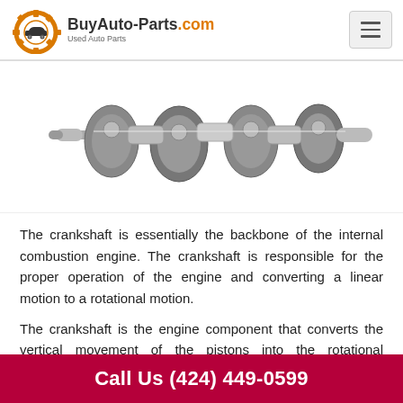BuyAuto-Parts.com Used Auto Parts
[Figure (photo): A crankshaft component shown in black and white on a white background, displaying the shaft with multiple counterweights and journals.]
The crankshaft is essentially the backbone of the internal combustion engine. The crankshaft is responsible for the proper operation of the engine and converting a linear motion to a rotational motion.
The crankshaft is the engine component that converts the vertical movement of the pistons into the rotational movement required to move a vehicle. The energy of
Call Us (424) 449-0599